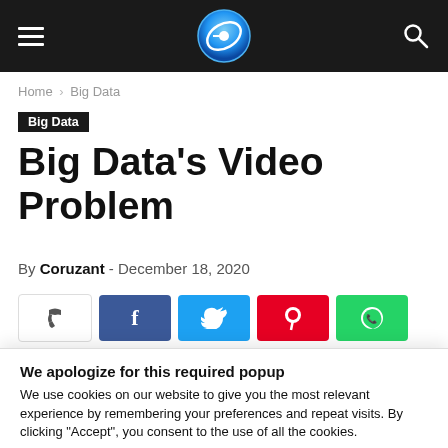Coruzant — navigation bar with hamburger menu, logo, and search icon
Home › Big Data
Big Data
Big Data's Video Problem
By Coruzant - December 18, 2020
[Figure (other): Social share buttons: share count, Facebook, Twitter, Pinterest, WhatsApp]
We apologize for this required popup
We use cookies on our website to give you the most relevant experience by remembering your preferences and repeat visits. By clicking "Accept", you consent to the use of all the cookies.
Do not sell my personal information.
Cookie settings   ACCEPT